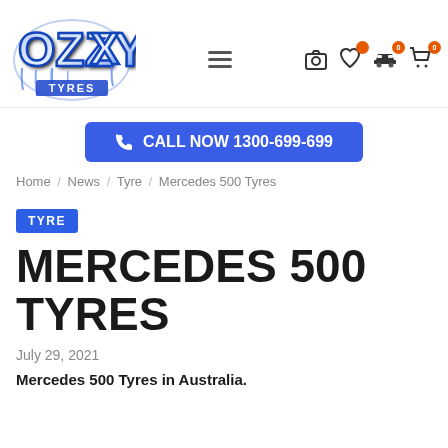[Figure (logo): Ozzy Tyres graffiti-style logo with blue/silver lettering and drips]
CALL NOW 1300-699-699
Home / News / Tyre / Mercedes 500 Tyres
TYRE
MERCEDES 500 TYRES
July 29, 2021
Mercedes 500 Tyres in Australia.